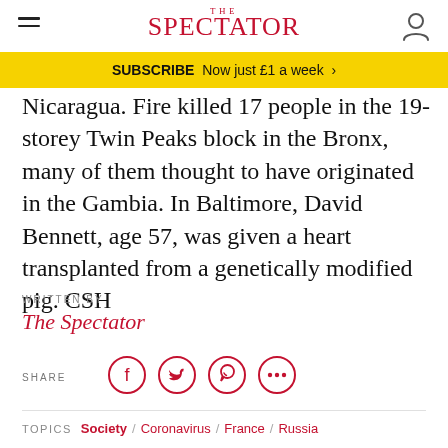The Spectator
SUBSCRIBE Now just £1 a week >
Nicaragua. Fire killed 17 people in the 19-storey Twin Peaks block in the Bronx, many of them thought to have originated in the Gambia. In Baltimore, David Bennett, age 57, was given a heart transplanted from a genetically modified pig. CSH
WRITTEN BY
The Spectator
SHARE
TOPICS Society / Coronavirus / France / Russia